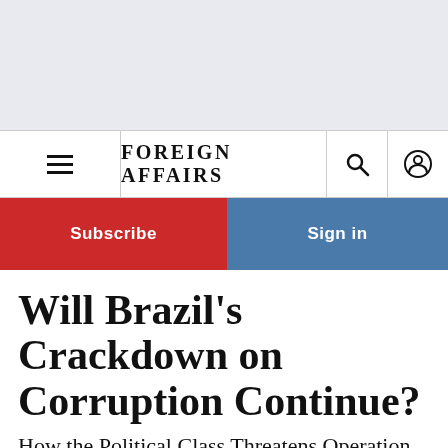[Figure (screenshot): Light grey banner/advertisement area at the top of the page]
FOREIGN AFFAIRS
[Figure (infographic): Subscribe (red button) and Sign in (blue button) navigation buttons]
Will Brazil's Crackdown on Corruption Continue?
How the Political Class Threatens Operation Car Wash's Future